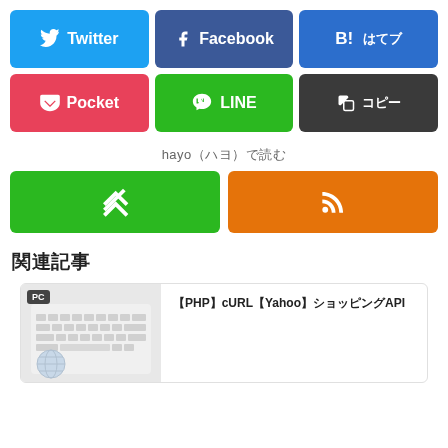[Figure (infographic): Social share buttons row 1: Twitter (blue), Facebook (dark blue), Hatena Bookmark (blue with B! and Japanese characters)]
[Figure (infographic): Social share buttons row 2: Pocket (pink/red), LINE (green), Copy (dark gray with Japanese characters)]
hayo（ハヨ）で読む
[Figure (infographic): hayo subscription buttons: Feedly (green with diamond icon), RSS (orange with wifi/rss icon)]
関連記事
[Figure (photo): PC keyboard with globe, labeled PC badge]
【PHP】cURL【Yahoo】ショッピングAPI